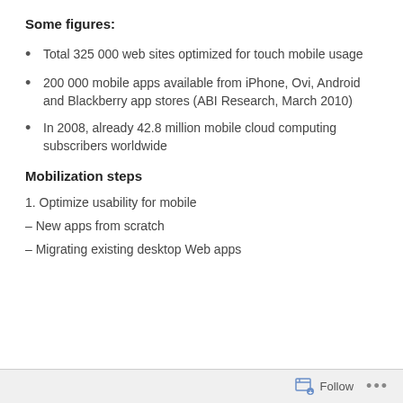Some figures:
Total 325 000 web sites optimized for touch mobile usage
200 000 mobile apps available from iPhone, Ovi, Android and Blackberry app stores (ABI Research, March 2010)
In 2008, already 42.8 million mobile cloud computing subscribers worldwide
Mobilization steps
1. Optimize usability for mobile
– New apps from scratch
– Migrating existing desktop Web apps
Follow ...